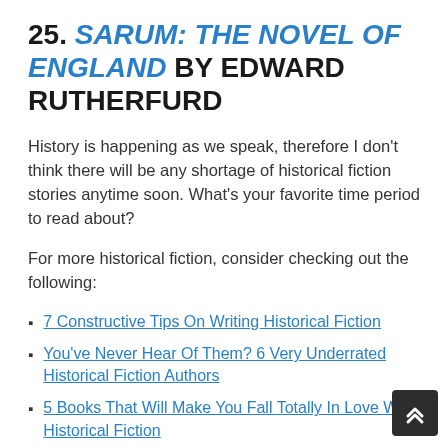25. SARUM: THE NOVEL OF ENGLAND BY EDWARD RUTHERFURD
History is happening as we speak, therefore I don't think there will be any shortage of historical fiction stories anytime soon. What's your favorite time period to read about?
For more historical fiction, consider checking out the following:
7 Constructive Tips On Writing Historical Fiction
You've Never Hear Of Them? 6 Very Underrated Historical Fiction Authors
5 Books That Will Make You Fall Totally In Love With Historical Fiction